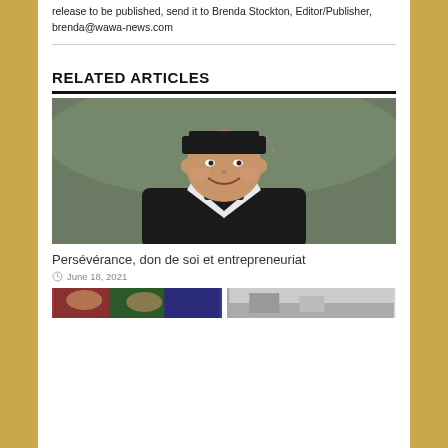release to be published, send it to Brenda Stockton, Editor/Publisher, brenda@wawa-news.com
RELATED ARTICLES
[Figure (photo): Young man wearing graduation cap and gown with white stole, smiling outdoors]
Persévérance, don de soi et entrepreneuriat
June 18, 2021
[Figure (photo): Two thumbnail images at the bottom of the page]